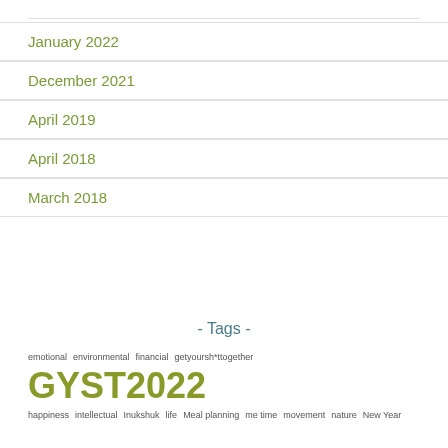January 2022
December 2021
April 2019
April 2018
March 2018
- Tags -
emotional environmental financial getyoursh*ttogether GYST2022
happiness intellectual Inukshuk life Meal planning me time movement nature New Year